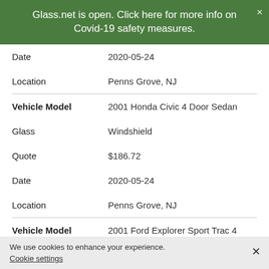Glass.net is open. Click here for more info on Covid-19 safety measures.
| Field | Value |
| --- | --- |
| Date | 2020-05-24 |
| Location | Penns Grove, NJ |
| Vehicle Model | 2001 Honda Civic 4 Door Sedan |
| Glass | Windshield |
| Quote | $186.72 |
| Date | 2020-05-24 |
| Location | Penns Grove, NJ |
| Vehicle Model | 2001 Ford Explorer Sport Trac 4 Door Utility |
| Glass | Door |
We use cookies to enhance your experience.
Cookie settings